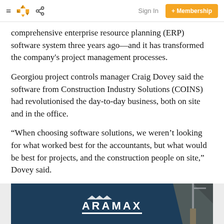Sign In   + Membership
comprehensive enterprise resource planning (ERP) software system three years ago—and it has transformed the company's project management processes.
Georgiou project controls manager Craig Dovey said the software from Construction Industry Solutions (COINS) had revolutionised the day-to-day business, both on site and in the office.
“When choosing software solutions, we weren’t looking for what worked best for the accountants, but what would be best for projects, and the construction people on site,” Dovey said.
[Figure (photo): ARAMAX advertisement banner with company logo on dark blue background with construction imagery]